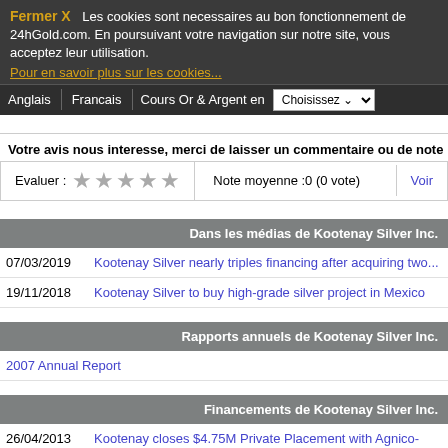Fermer X   Les cookies sont necessaires au bon fonctionnement de 24hGold.com. En poursuivant votre navigation sur notre site, vous acceptez leur utilisation.
Pour en savoir plus sur les cookies...
Anglais | Francais | Cours Or & Argent en | Choisissez
Votre avis nous interesse, merci de laisser un commentaire ou de note
Evaluer :  ☆ ☆ ☆ ☆ ☆  Note moyenne :0 (0 vote)  Voir
Dans les médias de Kootenay Silver Inc.
07/03/2019  Kootenay Silver nearly triples financing after acquiring two...
19/11/2018  Kootenay Silver to buy high-grade silver project in Mexico
Rapports annuels de Kootenay Silver Inc.
2007 Annual Report
Financements de Kootenay Silver Inc.
26/04/2013  Kootenay closes $4.75M Private Placement with Agnico-Eagle M...